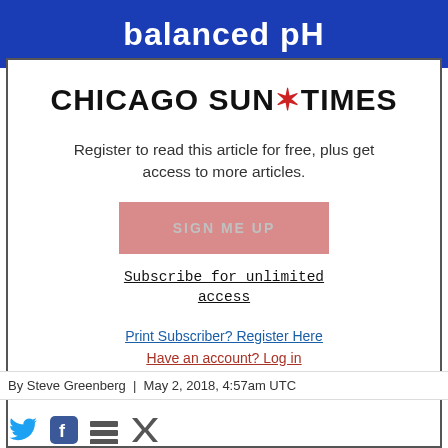[Figure (other): Blue advertisement banner with text 'balanced pH' in white bold letters]
CHICAGO SUN*TIMES
Register to read this article for free, plus get access to more articles.
SIGN ME UP
Subscribe for unlimited access
Print Subscriber? Register Here
Have an account? Log in
By Steve Greenberg | May 2, 2018, 4:57am UTC